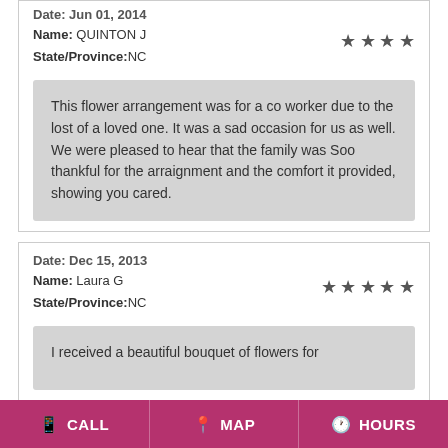Date: Jun 01, 2014
Name: QUINTON J  State/Province: NC  ★★★★
This flower arrangement was for a co worker due to the lost of a loved one. It was a sad occasion for us as well. We were pleased to hear that the family was Soo thankful for the arraignment and the comfort it provided, showing you cared.
Date: Dec 15, 2013
Name: Laura G  State/Province: NC  ★★★★★
I received a beautiful bouquet of flowers for
CALL  MAP  HOURS